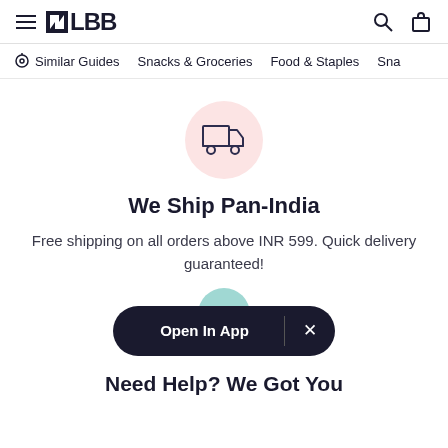LBB
Similar Guides  Snacks & Groceries  Food & Staples  Sna
[Figure (illustration): Delivery truck icon inside a pink circle]
We Ship Pan-India
Free shipping on all orders above INR 599. Quick delivery guaranteed!
[Figure (screenshot): Open In App banner button with close X, overlaid on a teal circle]
Need Help? We Got You